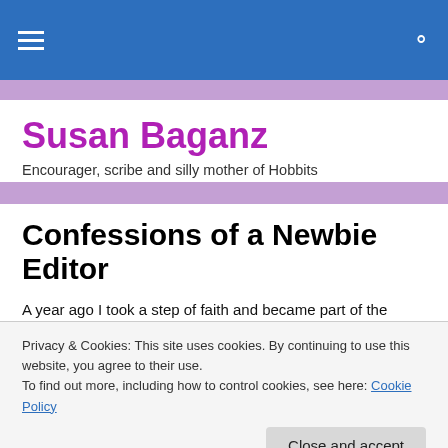Susan Baganz — site navigation header
Susan Baganz
Encourager, scribe and silly mother of Hobbits
Confessions of a Newbie Editor
A year ago I took a step of faith and became part of the
Privacy & Cookies: This site uses cookies. By continuing to use this website, you agree to their use.
To find out more, including how to control cookies, see here: Cookie Policy
Close and accept